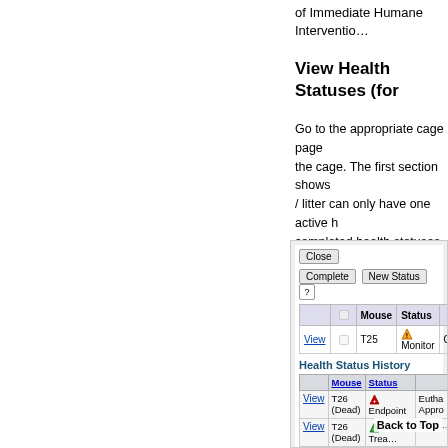of Immediate Humane Intervention
View Health Statuses (for
Go to the appropriate cage page the cage. The first section shows / litter can only have one active h completed health statuses. Both
[Figure (screenshot): Screenshot of a health status management interface showing Close, Complete, New Status buttons, a table with Mouse T25 with Monitor status, a Health Status History section with rows for T26 (Dead) Endpoint Euthanasia Approved, T26 (Dead) Active Treatment, and T25 Active Treatment, with a Back to Top link.]